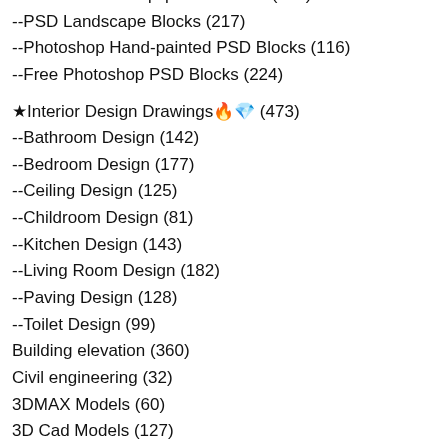--PSD Children Equipment Blocks (104)
--PSD Landscape Blocks (217)
--Photoshop Hand-painted PSD Blocks (116)
--Free Photoshop PSD Blocks (224)
★Interior Design Drawings🔥💎 (473)
--Bathroom Design (142)
--Bedroom Design (177)
--Ceiling Design (125)
--Childroom Design (81)
--Kitchen Design (143)
--Living Room Design (182)
--Paving Design (128)
--Toilet Design (99)
Building elevation (360)
Civil engineering (32)
3DMAX Models (60)
3D Cad Models (127)
★3D Sketchup models (115)
★Sketchup 3D models🔥💎 (115)